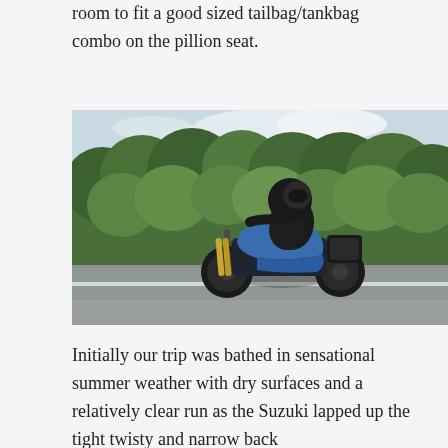room to fit a good sized tailbag/tankbag combo on the pillion seat.
[Figure (photo): Motorcyclist riding a blue naked motorcycle (Suzuki) on a rural road with trees in the background, shot in summer daylight conditions.]
Initially our trip was bathed in sensational summer weather with dry surfaces and a relatively clear run as the Suzuki lapped up the tight twisty and narrow back